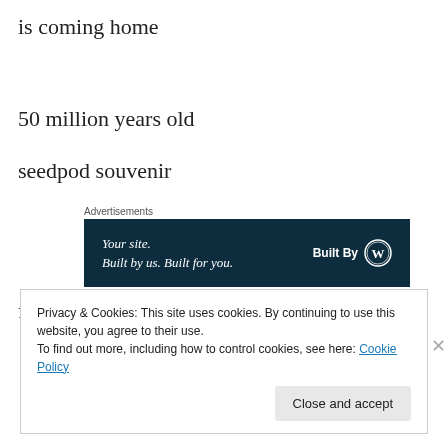is coming home
50 million years old
seedpod souvenir
[Figure (screenshot): Advertisement banner with dark teal background. Left side reads 'Your site. Built by us. Built for you.' in italic white serif text. Right side reads 'Built By' with a WordPress circular logo icon in white.]
from the flame tree
Privacy & Cookies: This site uses cookies. By continuing to use this website, you agree to their use.
To find out more, including how to control cookies, see here: Cookie Policy
Close and accept